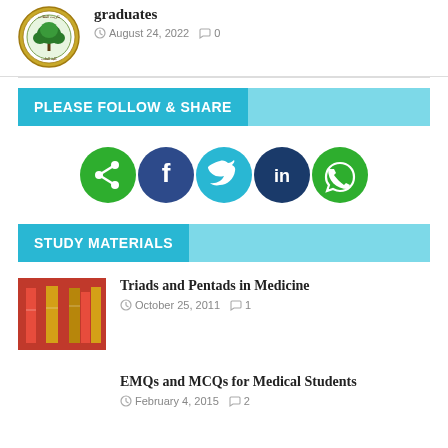[Figure (logo): University seal/logo with tree emblem and Arabic text, circular gold and green badge]
graduates
August 24, 2022   0
PLEASE FOLLOW & SHARE
[Figure (infographic): Five social media icon circles: green follow/share icon, Facebook (dark blue), Twitter (light blue), LinkedIn (dark blue), WhatsApp (green)]
STUDY MATERIALS
[Figure (photo): Photo of red and gold books/binders on a shelf]
Triads and Pentads in Medicine
October 25, 2011   1
EMQs and MCQs for Medical Students
February 4, 2015   2